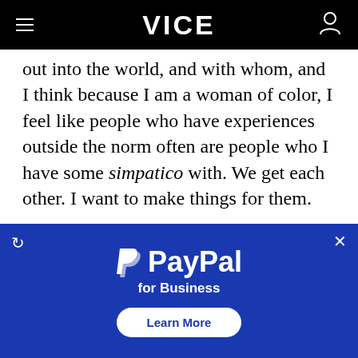VICE
out into the world, and with whom, and I think because I am a woman of color, I feel like people who have experiences outside the norm often are people who I have some simpatico with. We get each other. I want to make things for them.
TAGGED: MUNCHIES, FOOD, NETFLIX · FILME ȘI SERIALE,
[Figure (other): PayPal for Business advertisement banner with blue background, PayPal logo, tagline 'for Business', and 'Learn More' button]